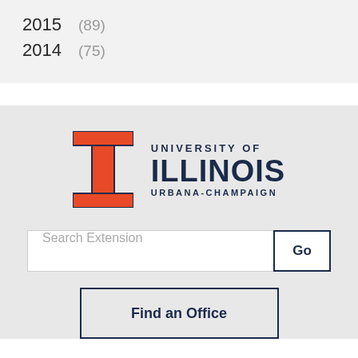2015  (89)
2014  (75)
[Figure (logo): University of Illinois Urbana-Champaign logo with orange Block I and dark navy text]
Search Extension
Go
Find an Office